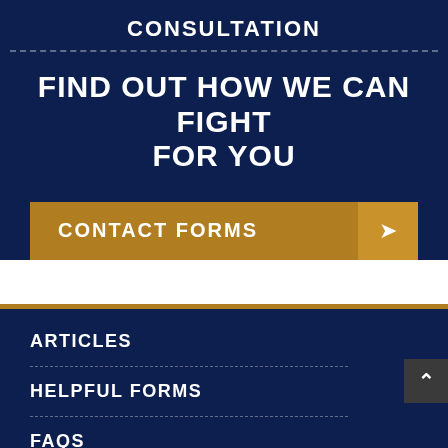CONSULTATION
FIND OUT HOW WE CAN FIGHT FOR YOU
CONTACT FORMS
ARTICLES
HELPFUL FORMS
FAQS